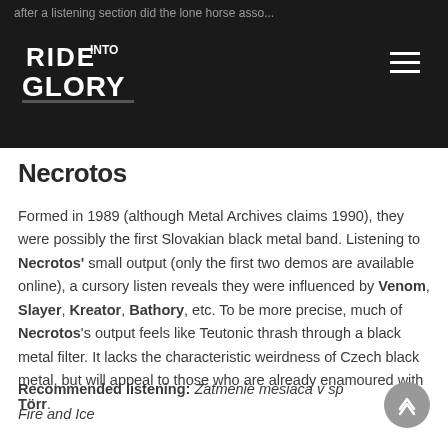after a listening section did the lone horse asso... lo...
Necrotos
Formed in 1989 (although Metal Archives claims 1990), they were possibly the first Slovakian black metal band. Listening to Necrotos' small output (only the first two demos are available online), a cursory listen reveals they were influenced by Venom, Slayer, Kreator, Bathory, etc. To be more precise, much of Necrotos's output feels like Teutonic thrash through a black metal filter. It lacks the characteristic weirdness of Czech black metal, but will appeal to those who are already enamoured with Törr.
Recommended listening: Zatmenie mesiaca v spl Fire and Ice